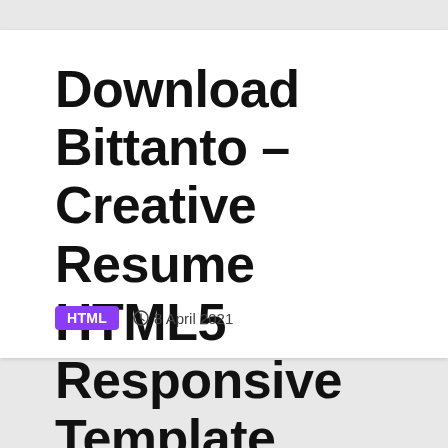Download Bittanto – Creative Resume HTML5 Responsive Template Nulled
HTML  8 April 2021